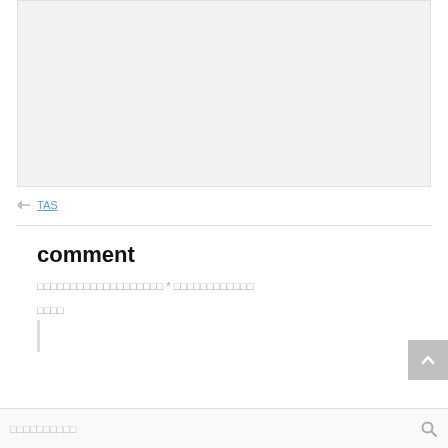[Figure (other): Gray placeholder box at the top of the page]
TAS
comment
□□□□□□□□□□□□□□□□□□□ * □□□□□□□□□□□□
□□□□
□□□□□□□□□□